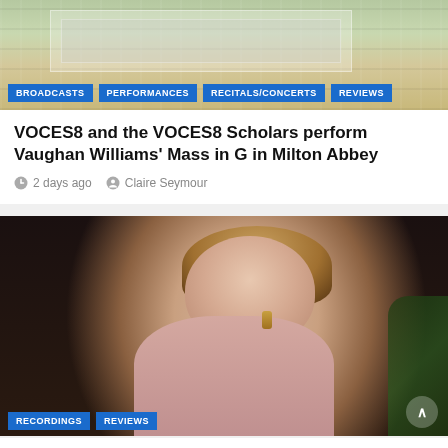[Figure (photo): Aerial view of Milton Abbey building with gardens, with navigation tags at bottom: BROADCASTS, PERFORMANCES, RECITALS/CONCERTS, REVIEWS]
VOCES8 and the VOCES8 Scholars perform Vaughan Williams' Mass in G in Milton Abbey
2 days ago   Claire Seymour
[Figure (photo): Portrait photo of a woman (Alice Coote) with blonde hair wearing a pink jacket, looking upward. Tags at bottom: RECORDINGS, REVIEWS]
Alice Coote & Julius Drake present a collection of popular Schubert lieder